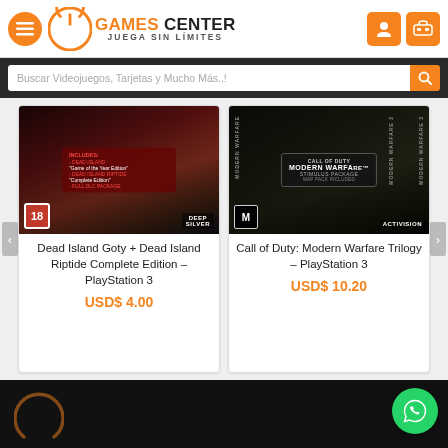[Figure (screenshot): Games Center website header with orange menu button, power-button logo, GAMES CENTER JUEGA SIN LÍMITES text, and orange user/cart icon buttons]
[Figure (screenshot): Search bar with placeholder text 'Buscar Videojuegos, Tarjetas y Mucho Más..!' and orange search button]
[Figure (screenshot): Dead Island Goty + Dead Island Riptide Complete Edition game cover image for PlayStation 3]
Dead Island Goty + Dead Island Riptide Complete Edition – PlayStation 3
USD$ 4.00
[Figure (screenshot): Call of Duty: Modern Warfare Trilogy game cover image for PlayStation 3]
Call of Duty: Modern Warfare Trilogy – PlayStation 3
USD$ 10.20
[Figure (screenshot): WhatsApp green circular chat button in bottom right corner]
[Figure (logo): Games Center logo partial at bottom in dark footer]